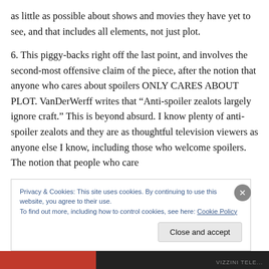as little as possible about shows and movies they have yet to see, and that includes all elements, not just plot.
6. This piggy-backs right off the last point, and involves the second-most offensive claim of the piece, after the notion that anyone who cares about spoilers ONLY CARES ABOUT PLOT. VanDerWerff writes that “Anti-spoiler zealots largely ignore craft.” This is beyond absurd. I know plenty of anti-spoiler zealots and they are as thoughtful television viewers as anyone else I know, including those who welcome spoilers. The notion that people who care
Privacy & Cookies: This site uses cookies. By continuing to use this website, you agree to their use.
To find out more, including how to control cookies, see here: Cookie Policy
Close and accept